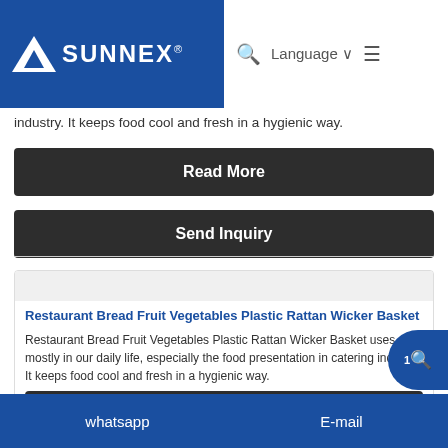SUNNEX® | Language | Navigation
industry. It keeps food cool and fresh in a hygienic way.
Read More
Send Inquiry
[Figure (illustration): Product image placeholder - Restaurant Bread Fruit Vegetables Plastic Rattan Wicker Basket]
Restaurant Bread Fruit Vegetables Plastic Rattan Wicker Basket
Restaurant Bread Fruit Vegetables Plastic Rattan Wicker Basket uses mostly in our daily life, especially the food presentation in catering industry. It keeps food cool and fresh in a hygienic way.
whatsapp    E-mail